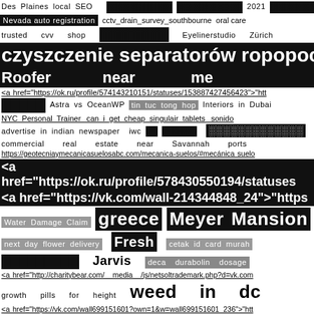Des Plaines local SEO   ░░░░░░░░ ░░░░░░░░ 2021 ░░░░░░ ░░░░░░ ░░░░░░░░
Nevada auto registration   cctv drain survey southbourne   oral care
trusted   cvv   shop   ░░░░░░░░   Eyelinerstudio   Zürich
czyszczenie separatorów ropopochodn
Roofer                    near                    me
<a href="https://ok.ru/profile/574143210151/statuses/153887427456423">"htt
░░░░░   Astra vs OceanWP   tin tuc tong hop   Interiors in Dubai
NYC Personal Trainer   can i get cheap singulair tablets   sonido
advertise in indian newspaper   iwc ░░ ░░░░░░   ░░░░░░░░░░░░░
commercial   real   estate   near   Savannah   ports
https://geotecniaymecanicasuelosabc.com/mecanica-suelos/#mecánica suelo
<a href="https://ok.ru/profile/578430550194/statuses
<a href="https://vk.com/wall-214344848_24">"https
Water Damage Claim   greece   Meyer Mansion
next day flower delivery   Fresh   cetak id card murah
░░░░░░░░░░   Jarvis   deca durabolin dosage
<a href="http://charitybear.com/__media__/js/netsoltrademark.php?d=vk.com
growth   pills   for   height   weed   in   dc
<a href="https://vk.com/wall699151601?own=1&w=wall699151601_236">"htt
░░░░░░░░░░░   autoöffnung   Additive Manufacturing Aachen
<a href="https://ok.ru/profile/575613774061/statuses/155321792065773">"htt